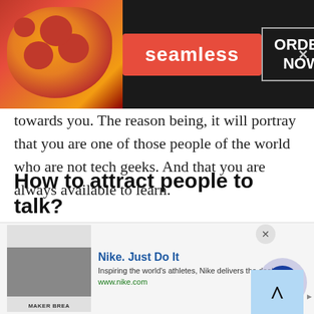[Figure (screenshot): Seamless food delivery advertisement banner with pizza image on left, red Seamless badge in center, and ORDER NOW button on right with dark background]
towards you. The reason being, it will portray that you are one of those people of the world who are not tech geeks. And that you are always available to learn.
How to attract people to talk?
Now since you will be on a platform where chat with people of Turkey or talking to a stranger is the key priority. However, there are some complications that
[Figure (screenshot): Nike advertisement banner at bottom: Nike Just Do It - Inspiring the world's athletes, Nike delivers the deals - www.nike.com, with product image and navigation arrow]